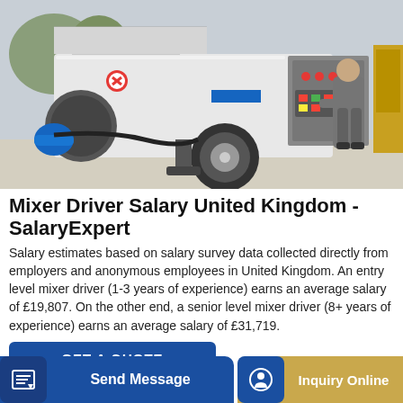[Figure (photo): A concrete mixer pump machine with a worker in grey uniform operating or inspecting the control panel. The machine is white/grey with a blue hose connector on the left and a large black wheel. Background shows an outdoor industrial setting.]
Mixer Driver Salary United Kingdom - SalaryExpert
Salary estimates based on salary survey data collected directly from employers and anonymous employees in United Kingdom. An entry level mixer driver (1-3 years of experience) earns an average salary of £19,807. On the other end, a senior level mixer driver (8+ years of experience) earns an average salary of £31,719.
GET A QUOTE
Send Message
Inquiry Online